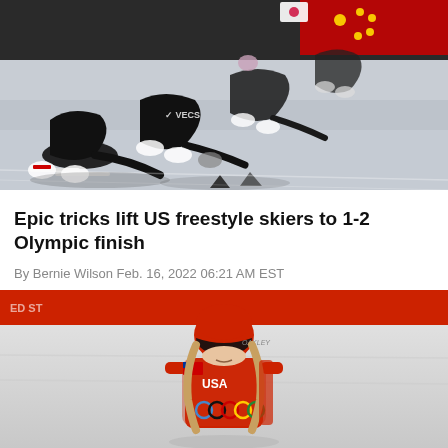[Figure (photo): Short track speed skaters in black suits leaning into a turn on ice, with South Korea and China national flags visible on helmets, competitive racing scene]
Epic tricks lift US freestyle skiers to 1-2 Olympic finish
By Bernie Wilson Feb. 16, 2022 06:21 AM EST
[Figure (photo): US freestyle skier wearing red USA helmet with Oakley goggles and red USA bib with Olympic rings, standing on snowy slope with red banner in background]